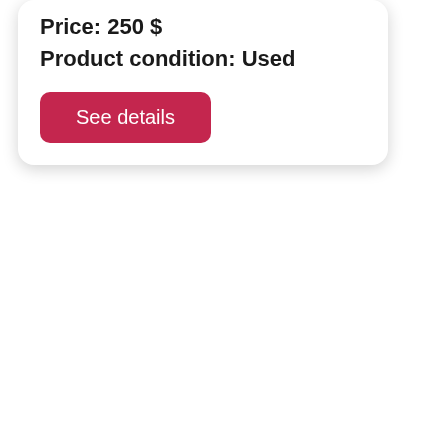Price: 250 $
Product condition: Used
See details